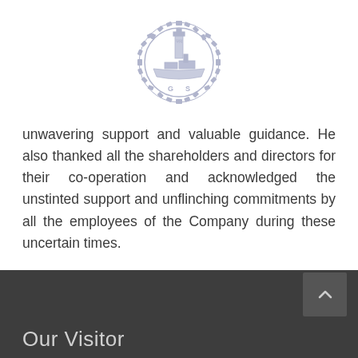[Figure (logo): Circular gear-bordered logo with a ship/lighthouse illustration and letters 'G S' at the bottom, rendered in light lavender/grey color]
unwavering support and valuable guidance. He also thanked all the shareholders and directors for their co-operation and acknowledged the unstinted support and unflinching commitments by all the employees of the Company during these uncertain times.
Our Visitor